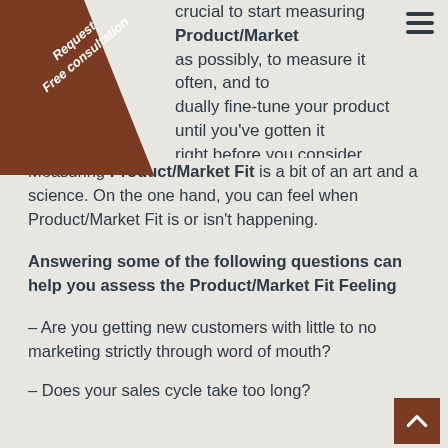crucial to start measuring Product/Market as possibly, to measure it often, and to dually fine-tune your product until you've gotten it right before you consider scaling.
Measuring Product/Market Fit is a bit of an art and a science. On the one hand, you can feel when Product/Market Fit is or isn't happening.
Answering some of the following questions can help you assess the Product/Market Fit Feeling
– Are you getting new customers with little to no marketing strictly through word of mouth?
– Does your sales cycle take too long?